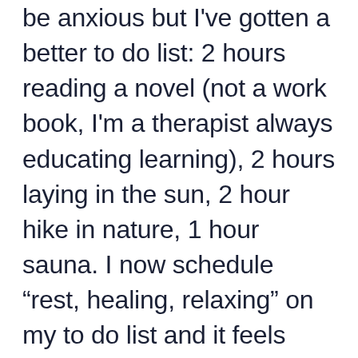be anxious but I've gotten a better to do list: 2 hours reading a novel (not a work book, I'm a therapist always educating learning), 2 hours laying in the sun, 2 hour hike in nature, 1 hour sauna. I now schedule “rest, healing, relaxing” on my to do list and it feels great. It’s about balance for me. I love my job so I'd work (and have) 7 days a week helping people but when I was in pain, not sleeping good, pushing myself, I saw I wasn't as good for my clients. Down time is still